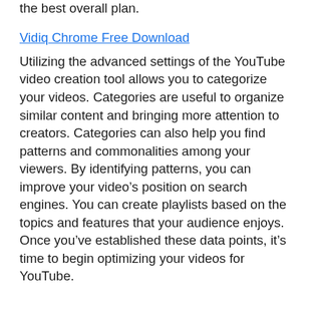the best overall plan.
Vidiq Chrome Free Download
Utilizing the advanced settings of the YouTube video creation tool allows you to categorize your videos. Categories are useful to organize similar content and bringing more attention to creators. Categories can also help you find patterns and commonalities among your viewers. By identifying patterns, you can improve your video’s position on search engines. You can create playlists based on the topics and features that your audience enjoys. Once you’ve established these data points, it’s time to begin optimizing your videos for YouTube.